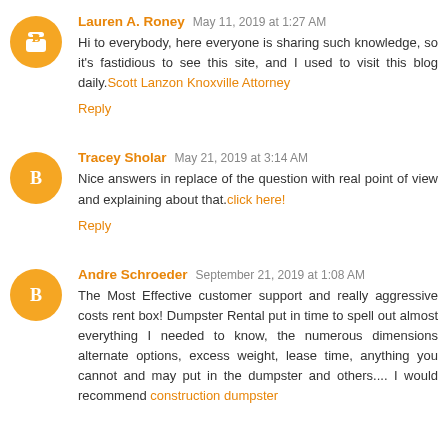Lauren A. Roney  May 11, 2019 at 1:27 AM
Hi to everybody, here everyone is sharing such knowledge, so it's fastidious to see this site, and I used to visit this blog daily.Scott Lanzon Knoxville Attorney
Reply
Tracey Sholar  May 21, 2019 at 3:14 AM
Nice answers in replace of the question with real point of view and explaining about that.click here!
Reply
Andre Schroeder  September 21, 2019 at 1:08 AM
The Most Effective customer support and really aggressive costs rent box! Dumpster Rental put in time to spell out almost everything I needed to know, the numerous dimensions alternate options, excess weight, lease time, anything you cannot and may put in the dumpster and others.... I would recommend construction dumpster